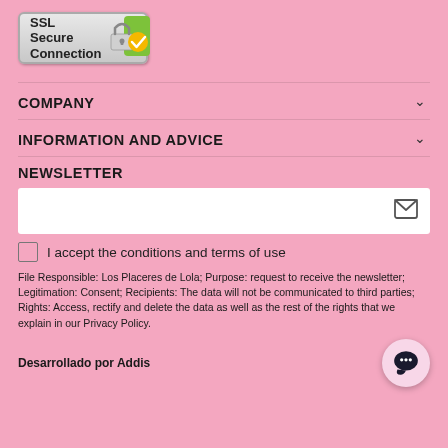[Figure (logo): SSL Secure Connection badge with padlock and green checkmark]
COMPANY
INFORMATION AND ADVICE
NEWSLETTER
[Figure (other): Email input field with envelope icon]
I accept the conditions and terms of use
File Responsible: Los Placeres de Lola; Purpose: request to receive the newsletter; Legitimation: Consent; Recipients: The data will not be communicated to third parties; Rights: Access, rectify and delete the data as well as the rest of the rights that we explain in our Privacy Policy.
Desarrollado por Addis